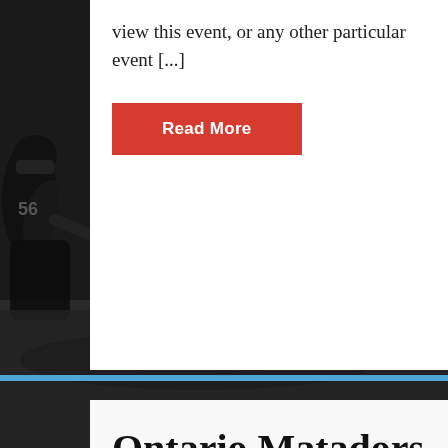[Figure (photo): Black and white photograph of American football players in action, with referees visible, filling the background of the page]
view this event, or any other particular event [...]
Read More
Ontario Matadors vs Southern Exposure prediction Apr 09,